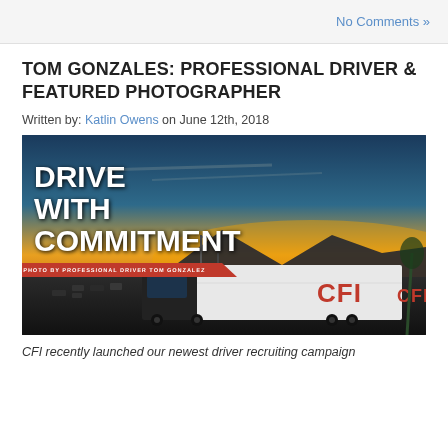No Comments »
TOM GONZALES: PROFESSIONAL DRIVER & FEATURED PHOTOGRAPHER
Written by: Katlin Owens on June 12th, 2018
[Figure (photo): CFI truck parked at sunset with dramatic sky; overlay text reads DRIVE WITH COMMITMENT, photo by professional driver Tom Gonzalez, with red diagonal banner; CFI logo on white trailer]
CFI recently launched our newest driver recruiting campaign